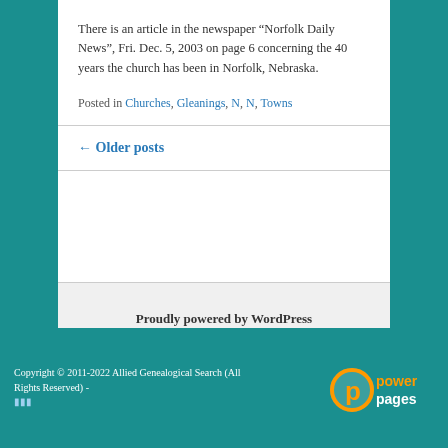There is an article in the newspaper “Norfolk Daily News”, Fri. Dec. 5, 2003 on page 6 concerning the 40 years the church has been in Norfolk, Nebraska.
Posted in Churches, Gleanings, N, N, Towns
← Older posts
Proudly powered by WordPress
Copyright © 2011-2022 Allied Genealogical Search (All Rights Reserved) -